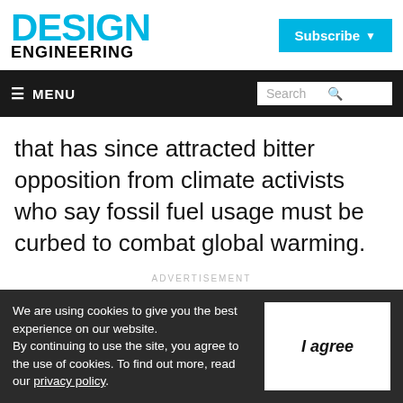DESIGN ENGINEERING
that has since attracted bitter opposition from climate activists who say fossil fuel usage must be curbed to combat global warming.
ADVERTISEMENT
The...
We are using cookies to give you the best experience on our website. By continuing to use the site, you agree to the use of cookies. To find out more, read our privacy policy.